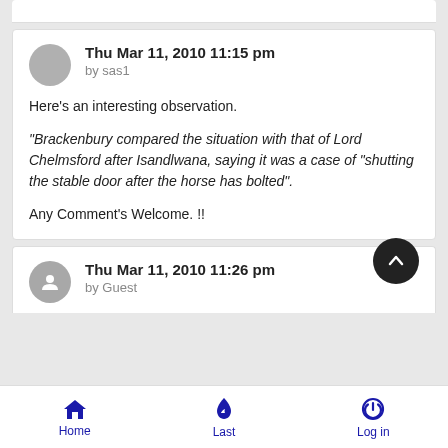Thu Mar 11, 2010 11:15 pm
by sas1
Here's an interesting observation.

"Brackenbury compared the situation with that of Lord Chelmsford after Isandlwana, saying it was a case of "shutting the stable door after the horse has bolted".

Any Comment's Welcome. !!
Thu Mar 11, 2010 11:26 pm
by Guest
Home   Last   Log in